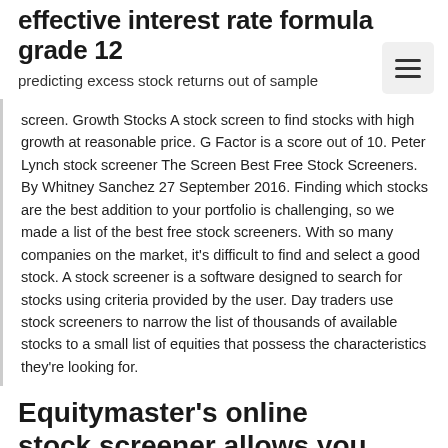effective interest rate formula grade 12
predicting excess stock returns out of sample
screen. Growth Stocks A stock screen to find stocks with high growth at reasonable price. G Factor is a score out of 10. Peter Lynch stock screener The Screen Best Free Stock Screeners. By Whitney Sanchez 27 September 2016. Finding which stocks are the best addition to your portfolio is challenging, so we made a list of the best free stock screeners. With so many companies on the market, it's difficult to find and select a good stock. A stock screener is a software designed to search for stocks using criteria provided by the user. Day traders use stock screeners to narrow the list of thousands of available stocks to a small list of equities that possess the characteristics they're looking for.
Equitymaster's online stock screener allows you